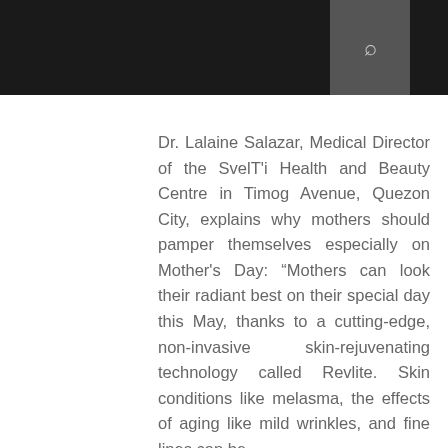Dr. Lalaine Salazar, Medical Director of the SvelT'i Health and Beauty Centre in Timog Avenue, Quezon City, explains why mothers should pamper themselves especially on Mother's Day: “Mothers can look their radiant best on their special day this May, thanks to a cutting-edge, non-invasive skin-rejuvenating technology called Revlite. Skin conditions like melasma, the effects of aging like mild wrinkles, and fine lines can be